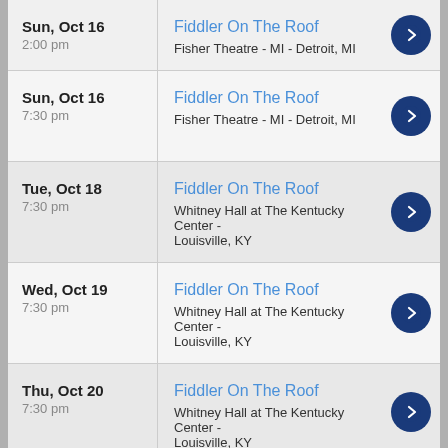| Date | Event | Action |
| --- | --- | --- |
| Sun, Oct 16
2:00 pm | Fiddler On The Roof
Fisher Theatre - MI - Detroit, MI | → |
| Sun, Oct 16
7:30 pm | Fiddler On The Roof
Fisher Theatre - MI - Detroit, MI | → |
| Tue, Oct 18
7:30 pm | Fiddler On The Roof
Whitney Hall at The Kentucky Center - Louisville, KY | → |
| Wed, Oct 19
7:30 pm | Fiddler On The Roof
Whitney Hall at The Kentucky Center - Louisville, KY | → |
| Thu, Oct 20
7:30 pm | Fiddler On The Roof
Whitney Hall at The Kentucky Center - Louisville, KY | → |